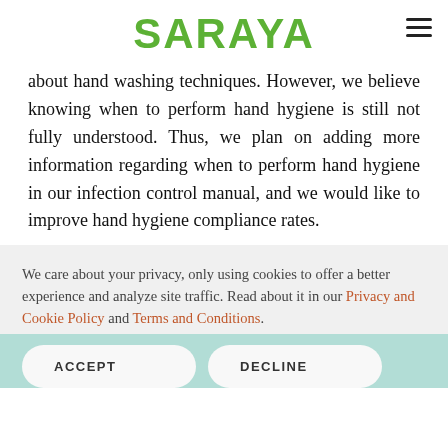SARAYA
about hand washing techniques. However, we believe knowing when to perform hand hygiene is still not fully understood. Thus, we plan on adding more information regarding when to perform hand hygiene in our infection control manual, and we would like to improve hand hygiene compliance rates.
We care about your privacy, only using cookies to offer a better experience and analyze site traffic. Read about it in our Privacy and Cookie Policy and Terms and Conditions.
ACCEPT
DECLINE